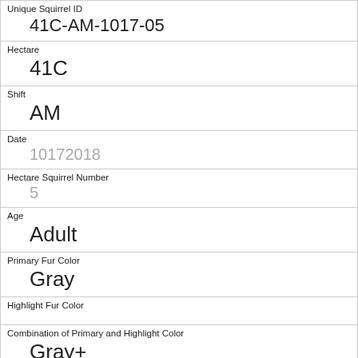| Unique Squirrel ID | 41C-AM-1017-05 |
| Hectare | 41C |
| Shift | AM |
| Date | 10172018 |
| Hectare Squirrel Number | 5 |
| Age | Adult |
| Primary Fur Color | Gray |
| Highlight Fur Color |  |
| Combination of Primary and Highlight Color | Gray+ |
| Color notes |  |
| Location |  |